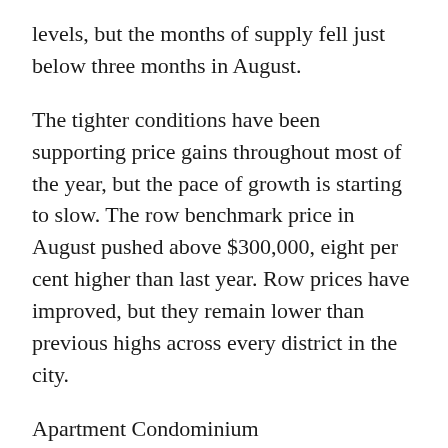levels, but the months of supply fell just below three months in August.
The tighter conditions have been supporting price gains throughout most of the year, but the pace of growth is starting to slow. The row benchmark price in August pushed above $300,000, eight per cent higher than last year. Row prices have improved, but they remain lower than previous highs across every district in the city.
Apartment Condominium
Sales activity in August was higher than anything recorded over the past six years, but thanks to continued gains in new listings, inventory levels remain elevated compared to last year and longer